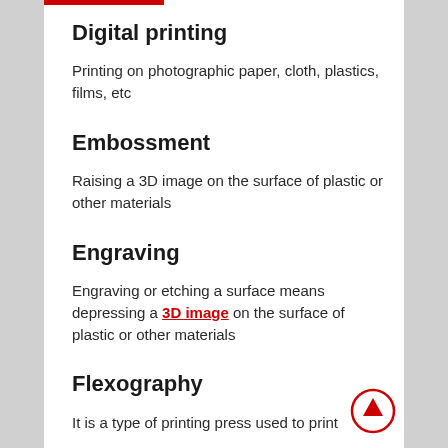Digital printing
Printing on photographic paper, cloth, plastics, films, etc
Embossment
Raising a 3D image on the surface of plastic or other materials
Engraving
Engraving or etching a surface means depressing a 3D image on the surface of plastic or other materials
Flexography
It is a type of printing press used to print